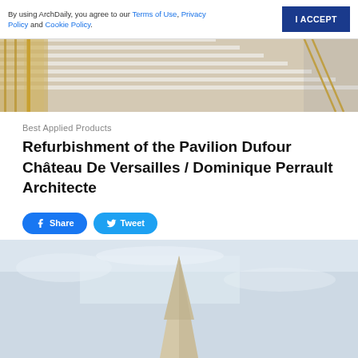By using ArchDaily, you agree to our Terms of Use, Privacy Policy and Cookie Policy.
[Figure (photo): Interior staircase with white marble steps, gold/yellow metal railings and glass panels]
Best Applied Products
Refurbishment of the Pavilion Dufour Château De Versailles / Dominique Perrault Architecte
[Figure (screenshot): Share and Tweet social media buttons]
[Figure (photo): Exterior architectural detail showing a light-colored triangular/pyramidal structure against a pale sky]